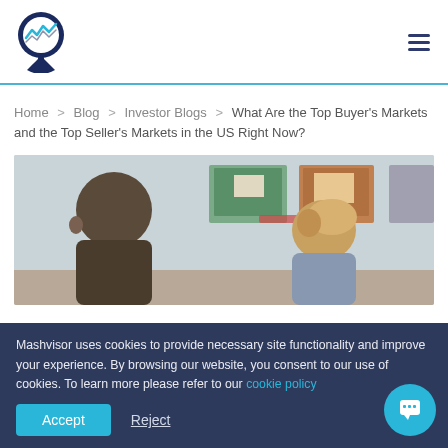[Figure (logo): Mashvisor logo: map pin icon with 'M' and wave graphic inside, dark navy blue, on white background]
Navigation header with Mashvisor logo and hamburger menu icon
Home  >  Blog  >  Investor Blogs  >  What Are the Top Buyer's Markets and the Top Seller's Markets in the US Right Now?
[Figure (photo): Photo of two people (man with brown hair, woman with blonde hair) viewed from behind, looking at real estate listings posted on a wall]
Mashvisor uses cookies to provide necessary site functionality and improve your experience. By browsing our website, you consent to our use of cookies. To learn more please refer to our cookie policy